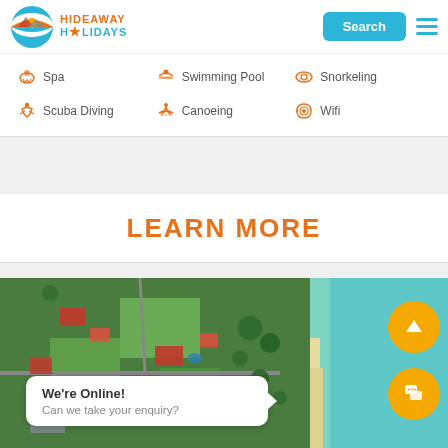[Figure (logo): Hideaway Holidays logo — circular icon with sunset/water and orange/blue text]
Search
Spa
Swimming Pool
Snorkeling
Scuba Diving
Canoeing
Wifi
LEARN MORE
[Figure (photo): Aerial view of a tropical coastal resort property with green lawns, red-roofed buildings, trees and turquoise ocean on the right side]
We're Online!
Can we take your enquiry?